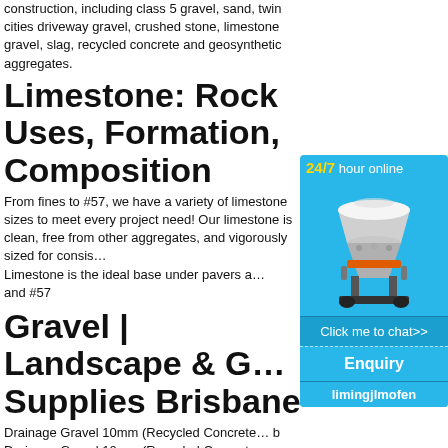construction, including class 5 gravel, sand, twin cities driveway gravel, crushed stone, limestone gravel, slag, recycled concrete and geosynthetic aggregates.
Limestone: Rock Uses, Formation, Composition
From fines to #57, we have a variety of limestone sizes to meet every project need! Our limestone is clean, free from other aggregates, and vigorously sized for consis… Limestone is the ideal base under pavers a… and #57
[Figure (illustration): Advertisement widget with blue background showing a cone crusher machine, '24/7 hour online' text in yellow and white, 'Click me to chat>>' button, 'Enquiry' section, and 'limingjlmofen' text at the bottom.]
Gravel | Landscape & G… Supplies Brisbane
Drainage Gravel 10mm (Recycled Concrete… b Drainage Gravel 10mm (Recycled Concrete… 09.14.2021. 20mm Blue Metal Drainage Gr… wgcweb 20mm Blue Metal Drainage Grave… 08.15.2017. 20mm
Products | G&G Haulin…